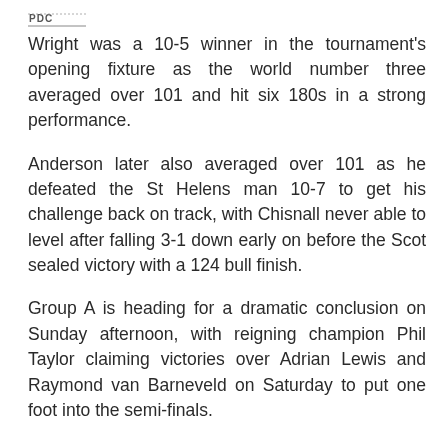[Figure (logo): Sports network logo (PDC/similar darts logo) in top-left corner]
Wright was a 10-5 winner in the tournament's opening fixture as the world number three averaged over 101 and hit six 180s in a strong performance.
Anderson later also averaged over 101 as he defeated the St Helens man 10-7 to get his challenge back on track, with Chisnall never able to level after falling 3-1 down early on before the Scot sealed victory with a 124 bull finish.
Group A is heading for a dramatic conclusion on Sunday afternoon, with reigning champion Phil Taylor claiming victories over Adrian Lewis and Raymond van Barneveld on Saturday to put one foot into the semi-finals.